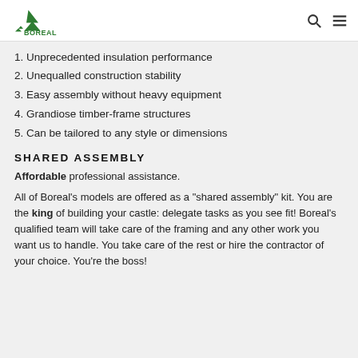BOREAL
1. Unprecedented insulation performance
2. Unequalled construction stability
3. Easy assembly without heavy equipment
4. Grandiose timber-frame structures
5. Can be tailored to any style or dimensions
SHARED ASSEMBLY
Affordable professional assistance.
All of Boreal’s models are offered as a “shared assembly” kit. You are the king of building your castle: delegate tasks as you see fit! Boreal’s qualified team will take care of the framing and any other work you want us to handle. You take care of the rest or hire the contractor of your choice. You’re the boss!